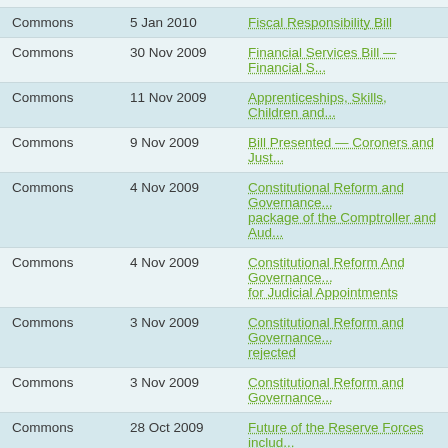| House | Date | Bill |
| --- | --- | --- |
| Commons | 5 Jan 2010 | Fiscal Responsibility Bill |
| Commons | 30 Nov 2009 | Financial Services Bill — Financial S... |
| Commons | 11 Nov 2009 | Apprenticeships, Skills, Children and... |
| Commons | 9 Nov 2009 | Bill Presented — Coroners and Just... |
| Commons | 4 Nov 2009 | Constitutional Reform and Governance... package of the Comptroller and Aud... |
| Commons | 4 Nov 2009 | Constitutional Reform And Governance... for Judicial Appointments |
| Commons | 3 Nov 2009 | Constitutional Reform and Governance... rejected |
| Commons | 3 Nov 2009 | Constitutional Reform and Governance... |
| Commons | 28 Oct 2009 | Future of the Reserve Forces includ... |
| Commons | 21 Oct 2009 | Equitable Life — Government Shoul... Compensation — rejected |
| Commons | 14 Oct 2009 | Opposition Day — [17th Allotted Day... |
| Commons | 7 Jul 2009 | Parliamentary Commissions of Inqui... duty |
| Commons | 7 Jul 2009 | Parliamentary Commissions of Inqui... 2009-10 for those aged under 65 |
| Commons | 7 Jul 2009 | Parliamentary Commissions of h... |